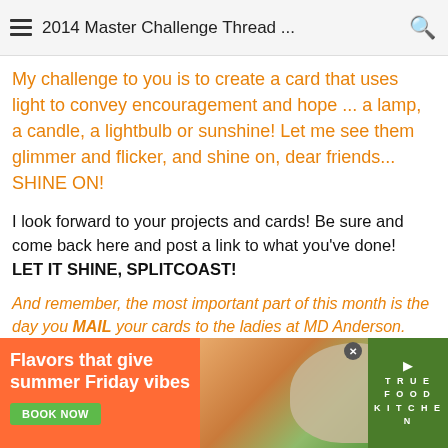the warmth of the candle flame and maybe someone who only...
2014 Master Challenge Thread ...
My challenge to you is to create a card that uses light to convey encouragement and hope ... a lamp, a candle, a lightbulb or sunshine! Let me see them glimmer and flicker, and shine on, dear friends... SHINE ON!
I look forward to your projects and cards! Be sure and come back here and post a link to what you've done!
LET IT SHINE, SPLITCOAST!
And remember, the most important part of this month is the day you MAIL your cards to the ladies at MD Anderson. The rest of your job is to chat, create and have FUN.
[Figure (photo): Advertisement banner for True Food Kitchen: 'Flavors that give summer Friday vibes' with food photos and BOOK NOW button]